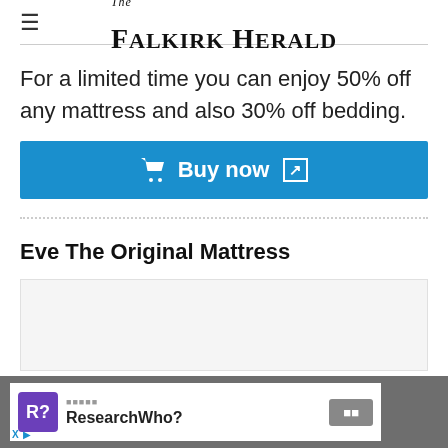The Falkirk Herald
For a limited time you can enjoy 50% off any mattress and also 30% off bedding.
Buy now
Eve The Original Mattress
[Figure (other): Gray placeholder image area for mattress product]
[Figure (other): Advertisement banner: ResearchWho? with R? badge and close button]